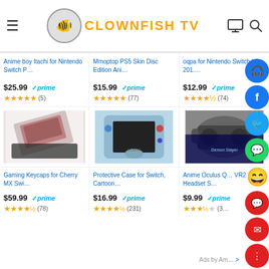Clownfish TV
Anime boy Itachi for Nintendo Switch P...
$25.99 prime
★★★★★ (5)
Mmoptop PS5 Skin Disc Edition Ani...
$15.99 prime
★★★★★ (77)
oqpa for Nintendo Switch Lite 201....
$12.99 prime
★★★★½ (74)
[Figure (photo): Gaming Keycaps product image - pink/dark keycaps]
[Figure (photo): Protective Case for Nintendo Switch with cartoon character]
[Figure (photo): Anime Oculus VR headset skin]
Gaming Keycaps for Cherry MX Swi...
$59.99 prime
★★★★½ (78)
Protective Case for Switch, Cartoon...
$16.99 prime
★★★★½ (231)
Anime Oculus Q... VR2 Headset S...
$9.99 prime
★★★½☆ (3...)
Ads by Am... >